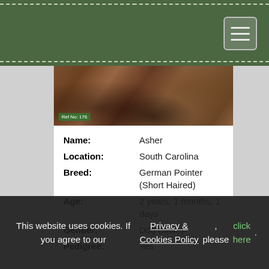[Figure (photo): Photo of Asher, a German Pointer (Short Haired) dog, outdoors among leaves and dirt]
Name: Asher
Location: South Carolina
Breed: German Pointer (Short Haired)
Age: 2 years, 1 months, 1 days
Gender: Dog (Male)
Pedigree: Yes
Asher is an extremely intelligent dog. He is a physical specimen. He physically grades out in the extraordinary category. He's a special boy and his...
This website uses cookies. If you agree to our Privacy & Cookies Policy, please click here.